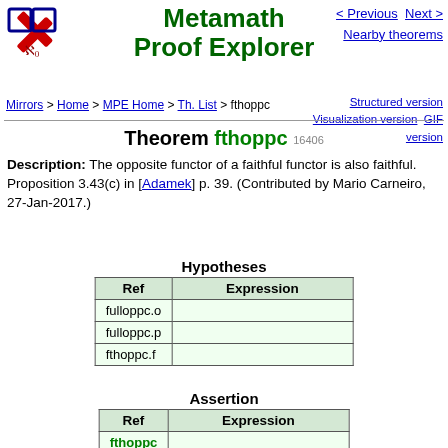Metamath Proof Explorer
Mirrors > Home > MPE Home > Th. List > fthoppc
< Previous  Next >  Nearby theorems
Structured version  Visualization version  GIF version
Theorem fthoppc 16406
Description: The opposite functor of a faithful functor is also faithful. Proposition 3.43(c) in [Adamek] p. 39. (Contributed by Mario Carneiro, 27-Jan-2017.)
Hypotheses
| Ref | Expression |
| --- | --- |
| fulloppc.o |  |
| fulloppc.p |  |
| fthoppc.f |  |
Assertion
| Ref | Expression |
| --- | --- |
| fthoppc |  |
Proof of Theorem fthoppc
Dummy variables  are mutually distinct and distinct from all